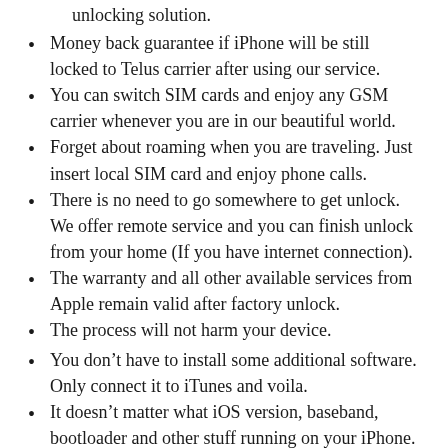unlocking solution.
Money back guarantee if iPhone will be still locked to Telus carrier after using our service.
You can switch SIM cards and enjoy any GSM carrier whenever you are in our beautiful world.
Forget about roaming when you are traveling. Just insert local SIM card and enjoy phone calls.
There is no need to go somewhere to get unlock. We offer remote service and you can finish unlock from your home (If you have internet connection).
The warranty and all other available services from Apple remain valid after factory unlock.
The process will not harm your device.
You don’t have to install some additional software. Only connect it to iTunes and voila.
It doesn’t matter what iOS version, baseband, bootloader and other stuff running on your iPhone. We unlock any